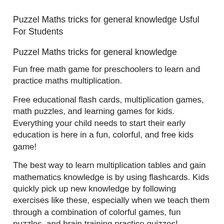Puzzel Maths tricks for general knowledge Usful For Students
Puzzel Maths tricks for general knowledge
Fun free math game for preschoolers to learn and practice maths multiplication.
Free educational flash cards, multiplication games, math puzzles, and learning games for kids. Everything your child needs to start their early education is here in a fun, colorful, and free kids game!
The best way to learn multiplication tables and gain mathematics knowledge is by using flashcards. Kids quickly pick up new knowledge by following exercises like these, especially when we teach them through a combination of colorful games, fun puzzles, and brain training practice quizzes! Children of all ages can enjoy this free educational